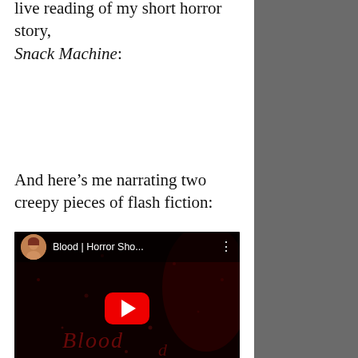live reading of my short horror story, Snack Machine:
And here’s me narrating two creepy pieces of flash fiction:
[Figure (screenshot): YouTube video embed thumbnail showing 'Blood | Horror Sho...' with a woman avatar, red play button, and dark red horror-themed background with cursive text.]